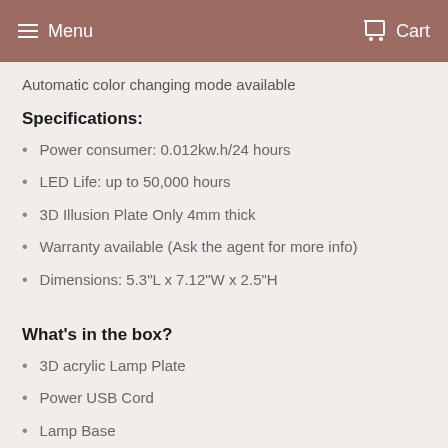Menu  Cart
Automatic color changing mode available
Specifications:
Power consumer: 0.012kw.h/24 hours
LED Life: up to 50,000 hours
3D Illusion Plate Only 4mm thick
Warranty available (Ask the agent for more info)
Dimensions: 5.3"L x 7.12"W x 2.5"H
What's in the box?
3D acrylic Lamp Plate
Power USB Cord
Lamp Base
Gift Box